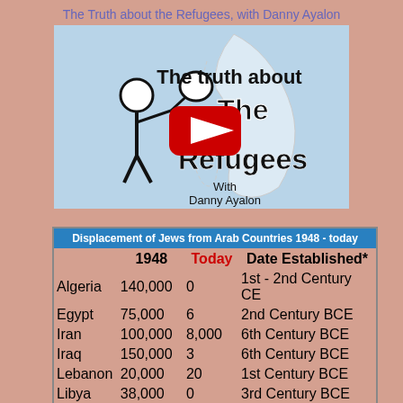The Truth about the Refugees, with Danny Ayalon
[Figure (screenshot): YouTube video thumbnail showing 'The truth about The Refugees With Danny Ayalon' with a red play button in the center and an illustrated figure of a person carrying a bindle on a light blue background]
| Displacement of Jews from Arab Countries 1948 - today |  |  |  |
| --- | --- | --- | --- |
|  | 1948 | Today | Date Established* |
| Algeria | 140,000 | 0 | 1st - 2nd Century CE |
| Egypt | 75,000 | 6 | 2nd Century BCE |
| Iran | 100,000 | 8,000 | 6th Century BCE |
| Iraq | 150,000 | 3 | 6th Century BCE |
| Lebanon | 20,000 | 20 | 1st Century BCE |
| Libya | 38,000 | 0 | 3rd Century BCE |
| Morocco | 265,000 | 1,500 | 1st Century BCE |